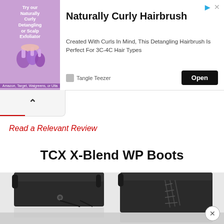[Figure (screenshot): Advertisement banner for Tangle Teezer Naturally Curly Hairbrush product with purple brush image, Open button, and close/arrow icons]
Read a Relevant Review
TCX X-Blend WP Boots
[Figure (photo): Two black TCX X-Blend WP motorcycle boots shown side by side with laces and pull tabs visible, with reflections below]